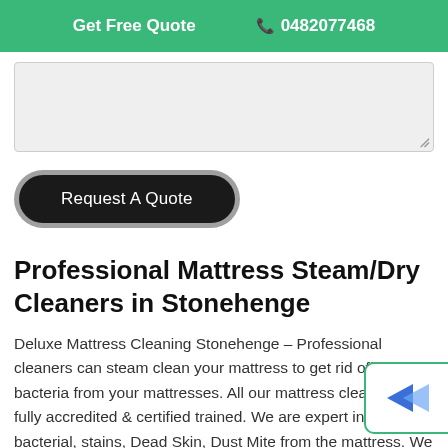Get Free Quote  0482077468
[Figure (screenshot): Text input textarea with light gray background and resize handle at bottom right]
[Figure (other): Request A Quote button — dark/black pill-shaped button with gray outer ring]
Professional Mattress Steam/Dry Cleaners in Stonehenge
Deluxe Mattress Cleaning Stonehenge – Professional cleaners can steam clean your mattress to get rid off harmful bacteria from your mattresses. All our mattress cleaners are fully accredited & certified trained. We are expert in removing bacterial, stains, Dead Skin, Dust Mite from the mattress. We use a range of bio-friendly
[Figure (other): Partially visible chat widget with teal/blue arrow icon on right side of page]